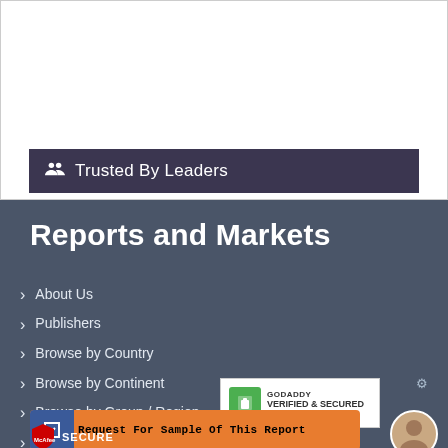[Figure (screenshot): Top white content area with a dark purple 'Trusted By Leaders' bar]
Trusted By Leaders
Reports and Markets
About Us
Publishers
Browse by Country
Browse by Continent
Browse by Group / Region
Careers
[Figure (logo): GoDaddy Verified & Secured badge]
Request For Sample Of This Report
[Figure (logo): McAfee SECURE badge]